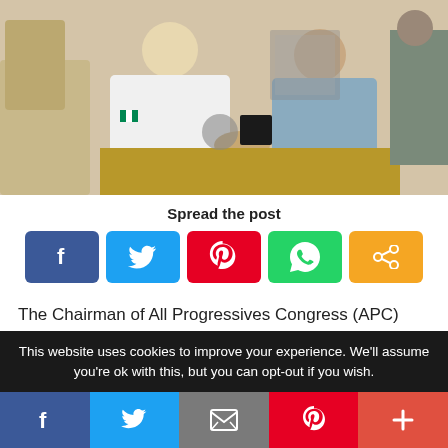[Figure (photo): Two men shaking hands across a desk in an office setting. One man wearing white traditional Nigerian attire, the other in a blue shirt. Office chairs and desk items visible in background.]
Spread the post
[Figure (infographic): Social share buttons: Facebook (blue), Twitter (light blue), Pinterest (red), WhatsApp (green), Share (orange)]
The Chairman of All Progressives Congress (APC) Governors' Forum, Gov. Rochas Okorocha of Imo, has
This website uses cookies to improve your experience. We'll assume you're ok with this, but you can opt-out if you wish.
[Figure (infographic): Bottom navigation bar with social share buttons: Facebook (dark blue), Twitter (light blue), Email (gray), Pinterest (red), More/Plus (light red)]